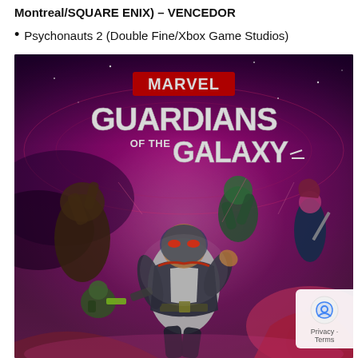Montreal/SQUARE ENIX) – VENCEDOR
Psychonauts 2 (Double Fine/Xbox Game Studios)
[Figure (photo): Marvel's Guardians of the Galaxy video game cover art showing Star-Lord and team members against a purple/pink cosmic background with the Marvel and Guardians of the Galaxy logo prominently displayed.]
Privacy · Terms